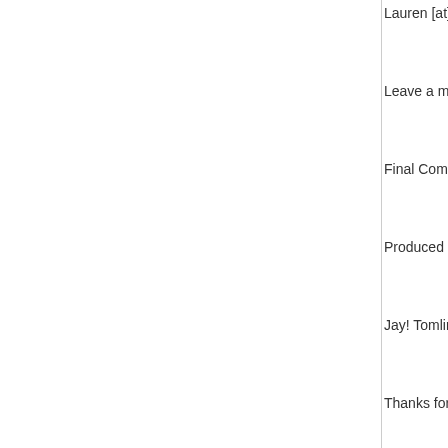Lauren [at] Bes...
Leave a messa...
Final Commen...
Produced by:
Jay! Tomlinson...
Thanks for liste...
Visit us at Bes...
Check out the...
Follow at Twitt...
Like at Facebo...
Contact me di...
Review the sh...
Direct download: No...
Category: general --